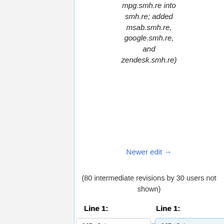mpg.smh.re into smh.re; added msab.smh.re, google.smh.re, and zendesk.smh.re)
Newer edit →
(80 intermediate revisions by 30 users not shown)
Line 1:
Line 1:
{{Infobox project
{{Infobox project
| title = Urlteam
| title = URLTeam
| image = Urlteam-logo.png
| image = Urlteam-logo.png